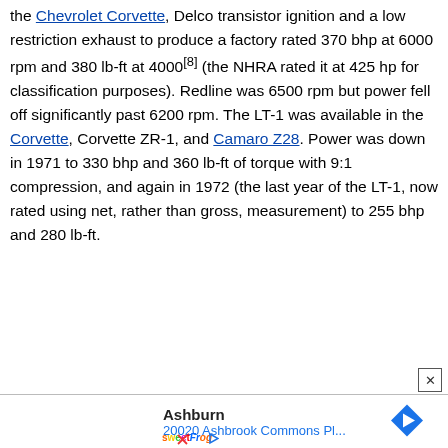the Chevrolet Corvette, Delco transistor ignition and a low restriction exhaust to produce a factory rated 370 bhp at 6000 rpm and 380 lb-ft at 4000[8] (the NHRA rated it at 425 hp for classification purposes). Redline was 6500 rpm but power fell off significantly past 6200 rpm. The LT-1 was available in the Corvette, Corvette ZR-1, and Camaro Z28. Power was down in 1971 to 330 bhp and 360 lb-ft of torque with 9:1 compression, and again in 1972 (the last year of the LT-1, now rated using net, rather than gross, measurement) to 255 bhp and 280 lb-ft.
[Figure (screenshot): Advertisement banner showing Ashburn location with address 20020 Ashburn Commons Pl..., sweetFrog logo, navigation arrow icon, play and close icons]